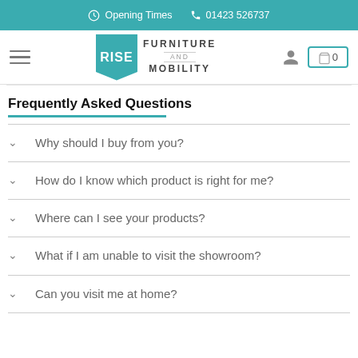Opening Times  01423 526737
[Figure (logo): Rise Furniture and Mobility logo with teal badge and text]
Frequently Asked Questions
Why should I buy from you?
How do I know which product is right for me?
Where can I see your products?
What if I am unable to visit the showroom?
Can you visit me at home?